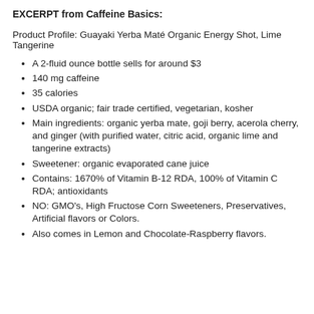EXCERPT from Caffeine Basics:
Product Profile: Guayaki Yerba Maté Organic Energy Shot, Lime Tangerine
A 2-fluid ounce bottle sells for around $3
140 mg caffeine
35 calories
USDA organic; fair trade certified, vegetarian, kosher
Main ingredients: organic yerba mate, goji berry, acerola cherry, and ginger (with purified water, citric acid, organic lime and tangerine extracts)
Sweetener: organic evaporated cane juice
Contains: 1670% of Vitamin B-12 RDA, 100% of Vitamin C RDA; antioxidants
NO: GMO's, High Fructose Corn Sweeteners, Preservatives, Artificial flavors or Colors.
Also comes in Lemon and Chocolate-Raspberry flavors.